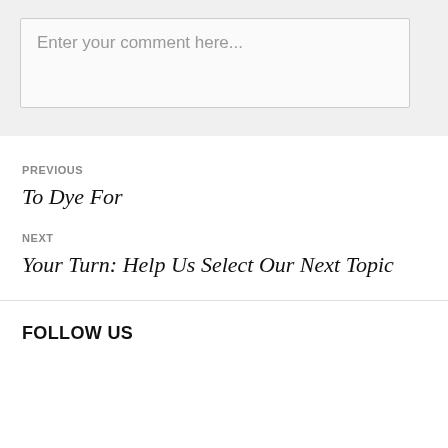Enter your comment here...
PREVIOUS
To Dye For
NEXT
Your Turn: Help Us Select Our Next Topic
FOLLOW US